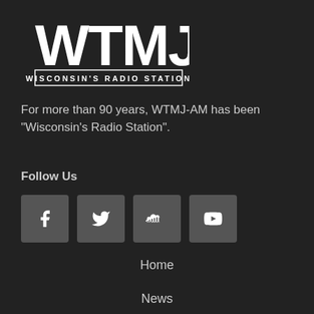[Figure (logo): WTMJ Wisconsin's Radio Station logo - white text on dark background]
For more than 90 years, WTMJ-AM has been "Wisconsin's Radio Station".
Follow Us
[Figure (infographic): Four social media icon buttons: Facebook, Twitter, SoundCloud, YouTube]
Home
News
Weather
Traffic
Sports
Shows